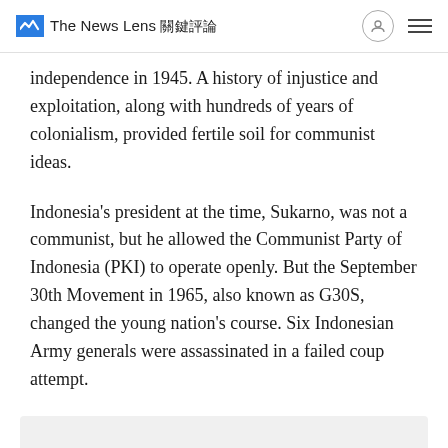The News Lens 關鍵評論
independence in 1945. A history of injustice and exploitation, along with hundreds of years of colonialism, provided fertile soil for communist ideas.
Indonesia's president at the time, Sukarno, was not a communist, but he allowed the Communist Party of Indonesia (PKI) to operate openly. But the September 30th Movement in 1965, also known as G30S, changed the young nation's course. Six Indonesian Army generals were assassinated in a failed coup attempt.
Advertisement